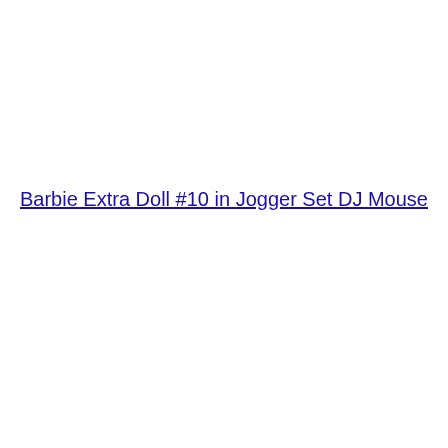Barbie Extra Doll #10 in Jogger Set DJ Mouse